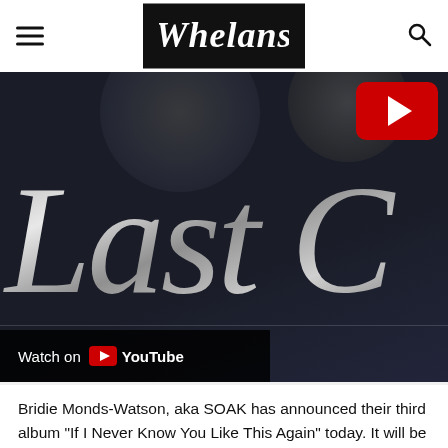Whelans
[Figure (screenshot): YouTube embedded video showing silver cursive text reading 'Last C...' on a dark navy background, with a red YouTube play button in the top right, and a 'Watch on YouTube' bar at the bottom left.]
Bridie Monds-Watson, aka SOAK has announced their third album “If I Never Know You Like This Again” today. It will be released by Rough Trade Records on May 20th, 2022. SOAK will celebrate